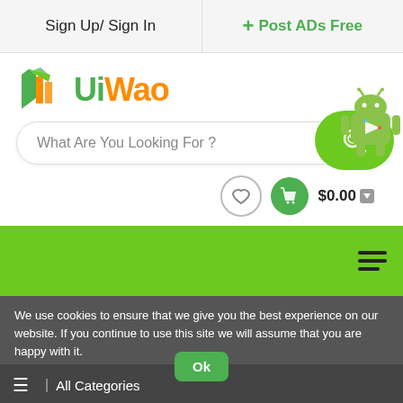Sign Up/ Sign In
+ Post ADs Free
[Figure (logo): UiWao logo with green geometric icon and orange/green text]
What Are You Looking For ?
$0.00
We use cookies to ensure that we give you the best experience on our website. If you continue to use this site we will assume that you are happy with it.
All Categories
Ok
Home / Blog Details /
Privacy · Terms